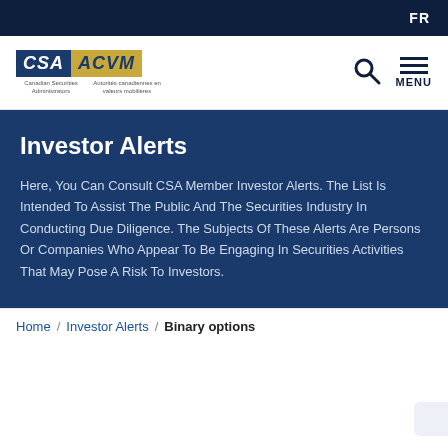FR
[Figure (logo): CSA ACVM - Canadian Securities Administrators / Autorités canadiennes en valeurs mobilières logo with search and menu icons]
Investor Alerts
Here, You Can Consult CSA Member Investor Alerts. The List Is Intended To Assist The Public And The Securities Industry In Conducting Due Diligence. The Subjects Of These Alerts Are Persons Or Companies Who Appear To Be Engaging In Securities Activities That May Pose A Risk To Investors.
Home / Investor Alerts / Binary options